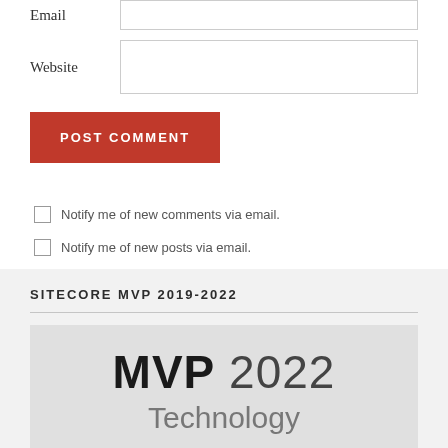Email
Website
POST COMMENT
Notify me of new comments via email.
Notify me of new posts via email.
SITECORE MVP 2019-2022
[Figure (logo): MVP 2022 Technology badge/logo on light grey background]